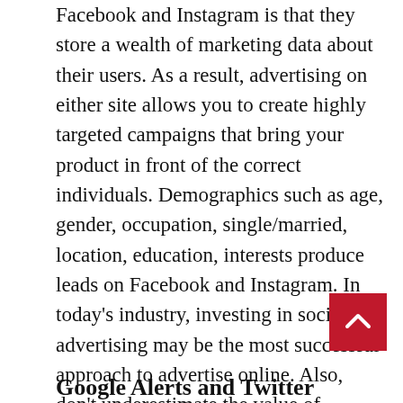Facebook and Instagram is that they store a wealth of marketing data about their users. As a result, advertising on either site allows you to create highly targeted campaigns that bring your product in front of the correct individuals. Demographics such as age, gender, occupation, single/married, location, education, interests produce leads on Facebook and Instagram. In today's industry, investing in social advertising may be the most successful approach to advertise online. Also, don't underestimate the value of interacting with people on sites like Reddit and Pinterest. Users on those sites have highly narrow interests, making it ideal for online leads generation.
Google Alerts and Twitter